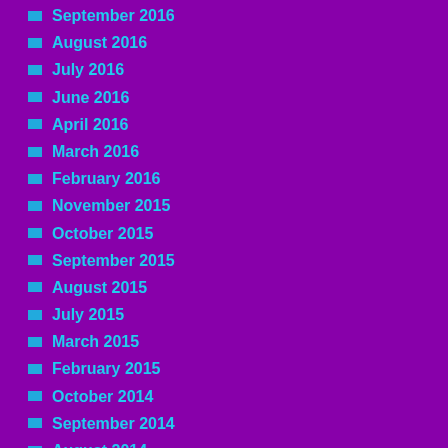September 2016
August 2016
July 2016
June 2016
April 2016
March 2016
February 2016
November 2015
October 2015
September 2015
August 2015
July 2015
March 2015
February 2015
October 2014
September 2014
August 2014
July 2014
May 2014
March 2014
February 2014
January 2014